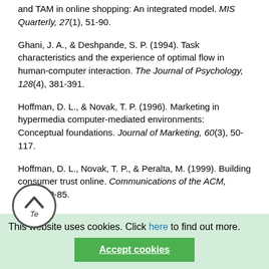and TAM in online shopping: An integrated model. MIS Quarterly, 27(1), 51-90.
Ghani, J. A., & Deshpande, S. P. (1994). Task characteristics and the experience of optimal flow in human-computer interaction. The Journal of Psychology, 128(4), 381-391.
Hoffman, D. L., & Novak, T. P. (1996). Marketing in hypermedia computer-mediated environments: Conceptual foundations. Journal of Marketing, 60(3), 50-117.
Hoffman, D. L., Novak, T. P., & Peralta, M. (1999). Building consumer trust online. Communications of the ACM, 42(4), 80-85.
Jarvenpaa, S. L., Tractinsky, N., & Vitale, M. (2000). Consumer trust in an Internet store. Information...